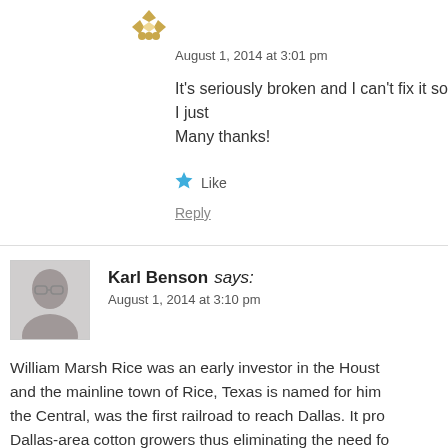[Figure (illustration): Small decorative avatar icon with gold/yellow geometric pattern]
August 1, 2014 at 3:01 pm
It's seriously broken and I can't fix it so I just
Many thanks!
★ Like
Reply
[Figure (photo): Avatar photo of Karl Benson, an elderly man with glasses]
Karl Benson says:
August 1, 2014 at 3:10 pm
William Marsh Rice was an early investor in the Houst and the mainline town of Rice, Texas is named for him the Central, was the first railroad to reach Dallas. It pro Dallas-area cotton growers thus eliminating the need fo Texas from where the crop was barged to New Orleans (Katy) at Dennison, Texas, and opened the first direct r Dallas' first freeway was built on the Central's right of